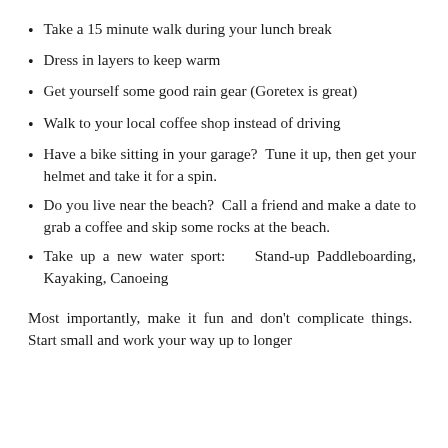Take a 15 minute walk during your lunch break
Dress in layers to keep warm
Get yourself some good rain gear (Goretex is great)
Walk to your local coffee shop instead of driving
Have a bike sitting in your garage?  Tune it up, then get your helmet and take it for a spin.
Do you live near the beach?  Call a friend and make a date to grab a coffee and skip some rocks at the beach.
Take up a new water sport:   Stand-up Paddleboarding, Kayaking, Canoeing
Most importantly, make it fun and don't complicate things.  Start small and work your way up to longer